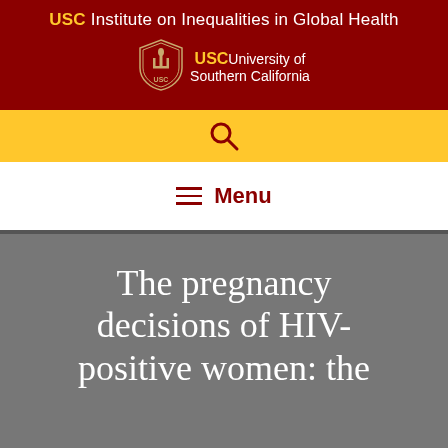USC Institute on Inequalities in Global Health
[Figure (logo): USC University of Southern California shield logo with wordmark]
[Figure (other): Search icon (magnifying glass) on gold background]
Menu
The pregnancy decisions of HIV-positive women: the